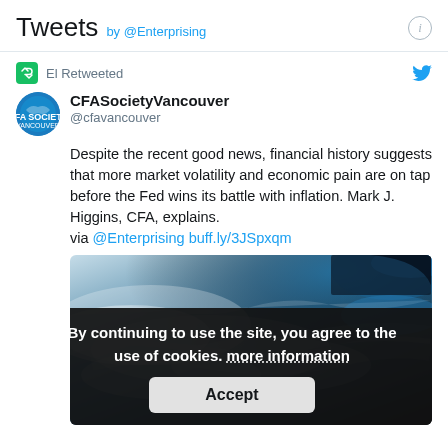Tweets by @Enterprising
El Retweeted
CFASocietyVancouver @cfavancouver
Despite the recent good news, financial history suggests that more market volatility and economic pain are on tap before the Fed wins its battle with inflation. Mark J. Higgins, CFA, explains.
via @Enterprising buff.ly/3JSpxqm
[Figure (photo): Aerial/satellite view of Earth showing clouds and ocean, with dark space visible at top right corner]
By continuing to use the site, you agree to the use of cookies. more information
Accept